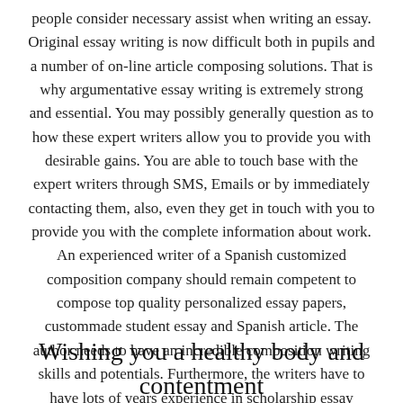people consider necessary assist when writing an essay. Original essay writing is now difficult both in pupils and a number of on-line article composing solutions. That is why argumentative essay writing is extremely strong and essential. You may possibly generally question as to how these expert writers allow you to provide you with desirable gains. You are able to touch base with the expert writers through SMS, Emails or by immediately contacting them, also, even they get in touch with you to provide you with the complete information about work. An experienced writer of a Spanish customized composition company should remain competent to compose top quality personalized essay papers, custommade student essay and Spanish article. The author needs to have an incredible composition writing skills and potentials. Furthermore, the writers have to have lots of years experience in scholarship essay writing. Additionally, they should have the ability to write essays that have no lexical mistakes so as to help you to do my essay.
Wishing you a healthy body and contentment